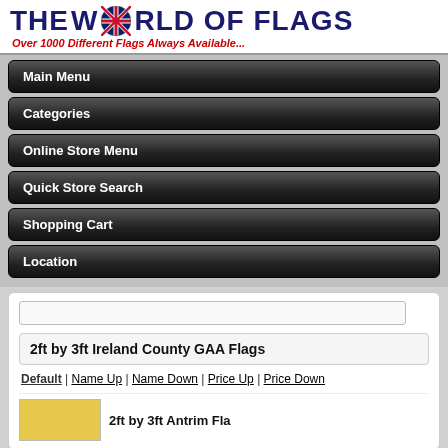THE WORLD OF FLAGS — Over 1000 Different Flags Always Available...
Main Menu
Categories
Online Store Menu
Quick Store Search
Shopping Cart
Location
2ft by 3ft Ireland County GAA Flags
Default | Name Up | Name Down | Price Up | Price Down
2ft by 3ft Antrim Flags (partial)